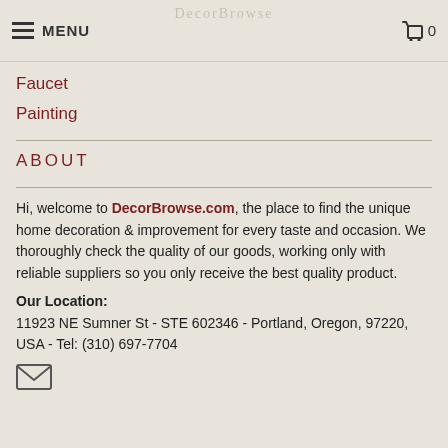MENU  0
Faucet
Painting
ABOUT
Hi, welcome to DecorBrowse.com, the place to find the unique home decoration & improvement for every taste and occasion. We thoroughly check the quality of our goods, working only with reliable suppliers so you only receive the best quality product.
Our Location:
11923 NE Sumner St - STE 602346 - Portland, Oregon, 97220, USA - Tel: (310) 697-7704
[Figure (other): Email envelope icon]